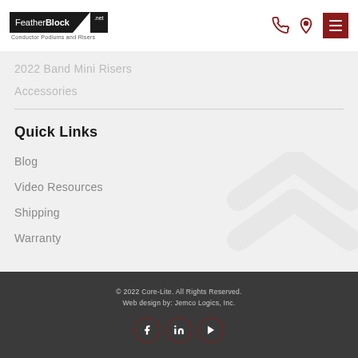FeatherBlock.net Conductor Podiums and Risers
2022 Band Mini Risers
Accessories
Quick Links
Blog
Video Resources
Shipping
Warranty
© 2022 Core-Lite. All Rights Reserved. Web design by: Jemco Logics, Inc.